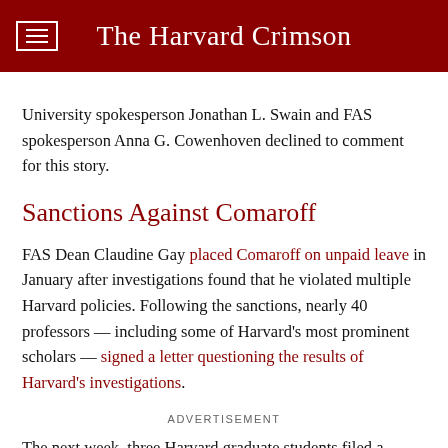The Harvard Crimson
University spokesperson Jonathan L. Swain and FAS spokesperson Anna G. Cowenhoven declined to comment for this story.
Sanctions Against Comaroff
FAS Dean Claudine Gay placed Comaroff on unpaid leave in January after investigations found that he violated multiple Harvard policies. Following the sanctions, nearly 40 professors — including some of Harvard's most prominent scholars — signed a letter questioning the results of Harvard's investigations.
ADVERTISEMENT
The next week, three Harvard graduate students filed a